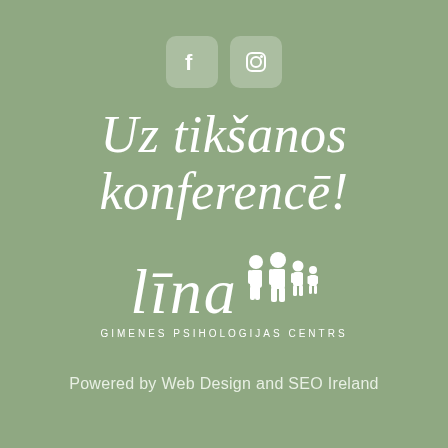[Figure (logo): Two social media icons: Facebook (f logo) and Instagram (camera logo) in white rounded square boxes on sage green background]
Uz tikšanos konferencē!
[Figure (logo): Lina Gimenes Psihologijas Centrs logo: stylized italic 'lina' text with white family silhouette figures (adults and children) and text 'GIMENES PSIHOLOGIJAS CENTRS' below]
Powered by Web Design and SEO Ireland